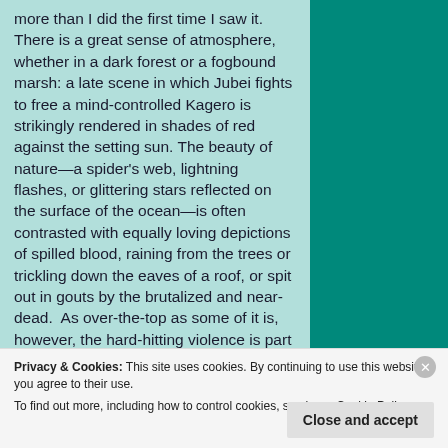more than I did the first time I saw it. There is a great sense of atmosphere, whether in a dark forest or a fogbound marsh: a late scene in which Jubei fights to free a mind-controlled Kagero is strikingly rendered in shades of red against the setting sun. The beauty of nature—a spider's web, lightning flashes, or glittering stars reflected on the surface of the ocean—is often contrasted with equally loving depictions of spilled blood, raining from the trees or trickling down the eaves of a roof, or spit out in gouts by the brutalized and near-dead. As over-the-top as some of it is, however, the hard-hitting violence is part of the genre's appeal, and there is a
Privacy & Cookies: This site uses cookies. By continuing to use this website, you agree to their use. To find out more, including how to control cookies, see here: Cookie Policy